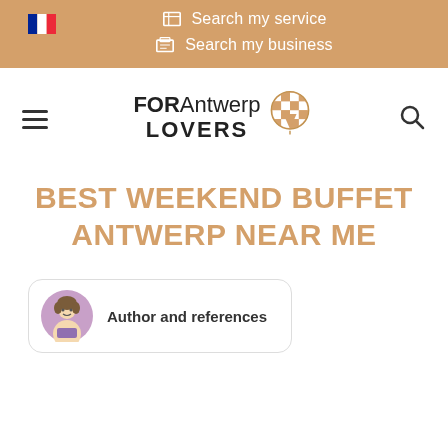Search my service | Search my business
[Figure (logo): FOR Antwerp LOVERS logo with map pin icon]
BEST WEEKEND BUFFET ANTWERP NEAR ME
Author and references